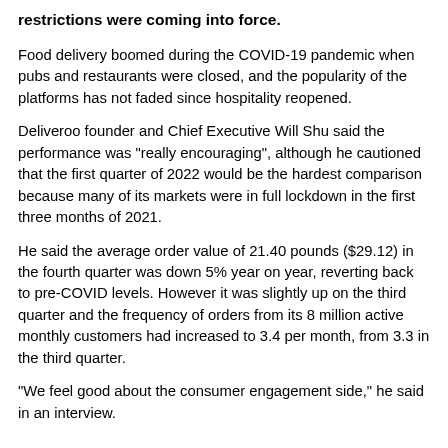restrictions were coming into force.
Food delivery boomed during the COVID-19 pandemic when pubs and restaurants were closed, and the popularity of the platforms has not faded since hospitality reopened.
Deliveroo founder and Chief Executive Will Shu said the performance was "really encouraging", although he cautioned that the first quarter of 2022 would be the hardest comparison because many of its markets were in full lockdown in the first three months of 2021.
He said the average order value of 21.40 pounds ($29.12) in the fourth quarter was down 5% year on year, reverting back to pre-COVID levels. However it was slightly up on the third quarter and the frequency of orders from its 8 million active monthly customers had increased to 3.4 per month, from 3.3 in the third quarter.
"We feel good about the consumer engagement side," he said in an interview.